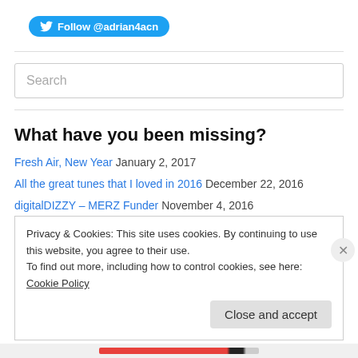[Figure (other): Twitter Follow button for @adrian4acn]
Search
What have you been missing?
Fresh Air, New Year  January 2, 2017
All the great tunes that I loved in 2016  December 22, 2016
digitalDIZZY – MERZ Funder  November 4, 2016
Glove of Bones – Mabinogi  October 27, 2016
Privacy & Cookies: This site uses cookies. By continuing to use this website, you agree to their use.
To find out more, including how to control cookies, see here: Cookie Policy
Close and accept